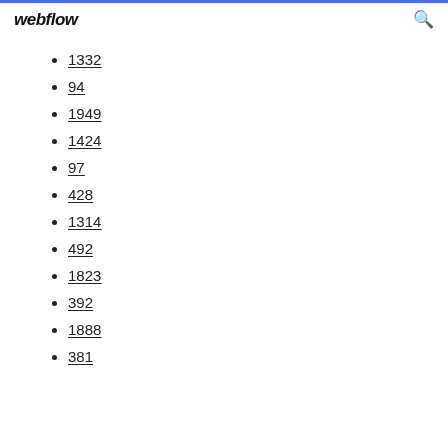webflow
1332
94
1949
1424
97
428
1314
492
1823
392
1888
381